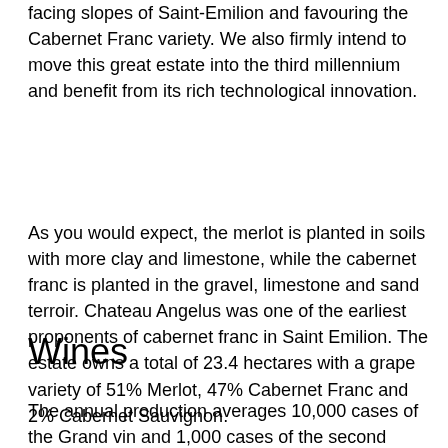facing slopes of Saint-Emilion and favouring the Cabernet Franc variety. We also firmly intend to move this great estate into the third millennium and benefit from its rich technological innovation.
As you would expect, the merlot is planted in soils with more clay and limestone, while the cabernet franc is planted in the gravel, limestone and sand terroir. Chateau Angelus was one of the earliest proponents of cabernet franc in Saint Emilion. The estate owns a total of 23.4 hectares with a grape variety of 51% Merlot, 47% Cabernet Franc and 2% Cabernet Sauvignon.
Wines
The annual production averages 10,000 cases of the Grand vin and 1,000 cases of the second wine.